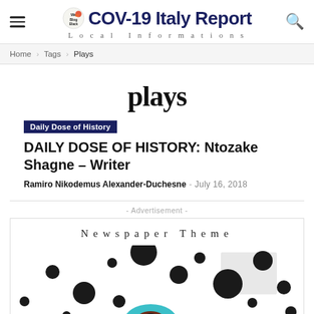COV-19 Italy Report — Local Informations
Home › Tags › Plays
plays
Daily Dose of History
DAILY DOSE OF HISTORY: Ntozake Shagne – Writer
Ramiro Nikodemus Alexander-Duchesne - July 16, 2018
- Advertisement -
[Figure (illustration): Newspaper Theme advertisement banner with dark circular dots and a teal/cyan ring shape on white background]